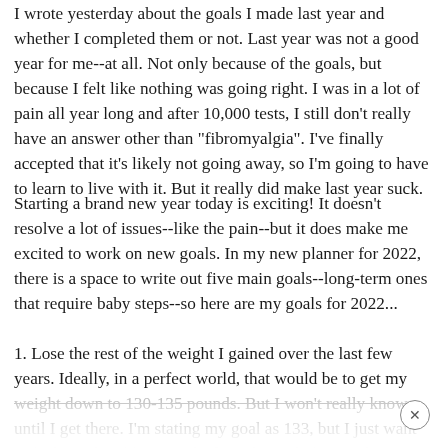I wrote yesterday about the goals I made last year and whether I completed them or not. Last year was not a good year for me--at all. Not only because of the goals, but because I felt like nothing was going right. I was in a lot of pain all year long and after 10,000 tests, I still don't really have an answer other than "fibromyalgia". I've finally accepted that it's likely not going away, so I'm going to have to learn to live with it. But it really did make last year suck.
Starting a brand new year today is exciting! It doesn't resolve a lot of issues--like the pain--but it does make me excited to work on new goals. In my new planner for 2022, there is a space to write out five main goals--long-term ones that require baby steps--so here are my goals for 2022...
1. Lose the rest of the weight I gained over the last few years. Ideally, in a perfect world, that would be to get my weight down to 130-135 pounds. But I won't really know until I get there. I'm stating my goal as 133, but I just want to feel comfortable in my body and my clothes, and I want